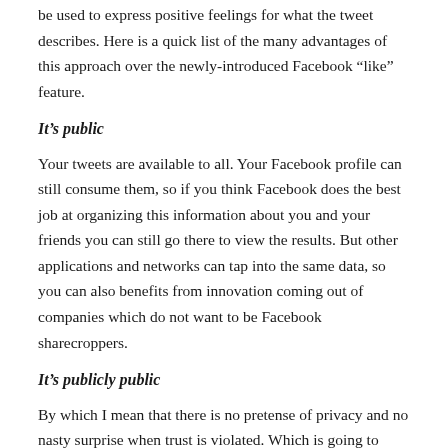be used to express positive feelings for what the tweet describes. Here is a quick list of the many advantages of this approach over the newly-introduced Facebook “like” feature.
It’s public
Your tweets are available to all. Your Facebook profile can still consume them, so if you think Facebook does the best job at organizing this information about you and your friends you can still go there to view the results. But other applications and networks can tap into the same data, so you can also benefits from innovation coming out of companies which do not want to be Facebook sharecroppers.
It’s publicly public
By which I mean that there is no pretense of privacy and no nasty surprise when trust is violated. Which is going to happen again and again. Especially when it’s not just a matter of displaying data but also of inferring new information based on the raw data collected. At which point it’s almost impossible to segregate access to the derived information based on the privacy settings of the individual data pieces.